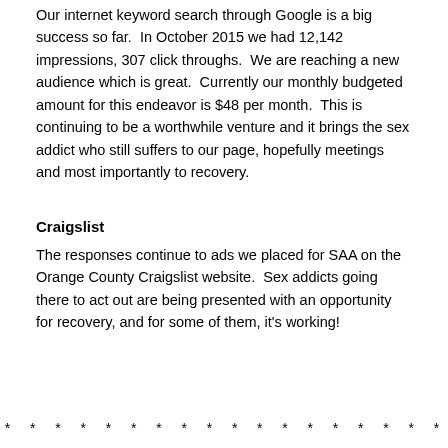Our internet keyword search through Google is a big success so far. In October 2015 we had 12,142 impressions, 307 click throughs. We are reaching a new audience which is great. Currently our monthly budgeted amount for this endeavor is $48 per month. This is continuing to be a worthwhile venture and it brings the sex addict who still suffers to our page, hopefully meetings and most importantly to recovery.
Craigslist
The responses continue to ads we placed for SAA on the Orange County Craigslist website. Sex addicts going there to act out are being presented with an opportunity for recovery, and for some of them, it's working!
* * * * * * * * * * * * * * * * * *